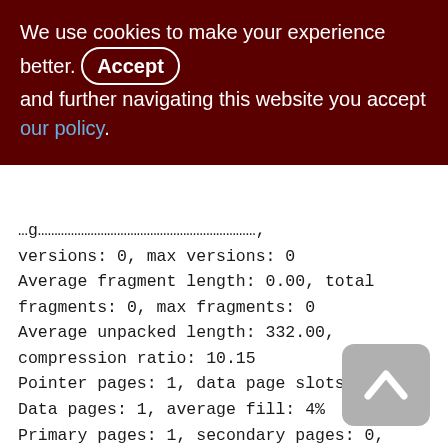We use cookies to make your experience better. By accepting and further navigating this website you accept our policy.
versions: 0, max versions: 0
Average fragment length: 0.00, total fragments: 0, max fragments: 0
Average unpacked length: 332.00, compression ratio: 10.15
Pointer pages: 1, data page slots: 1
Data pages: 1, average fill: 4%
Primary pages: 1, secondary pages: 0, swept pages: 1
Empty pages: 0, full pages: 0
Fill distribution:
0 - 19% = 1